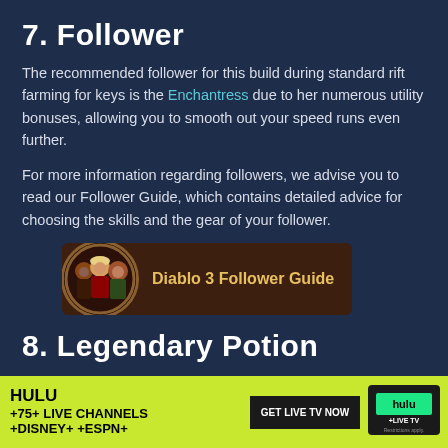7. Follower
The recommended follower for this build during standard rift farming for keys is the Enchantress due to her numerous utility bonuses, allowing you to smooth out your speed runs even further.
For more information regarding followers, we advise you to read our Follower Guide, which contains detailed advice for choosing the skills and the gear of your follower.
[Figure (illustration): Diablo 3 Follower Guide button with character icons (three followers) on left and text 'Diablo 3 Follower Guide' on brown background]
8. Legendary Potion
The preferred potion for this build is Bottomless Potion of the Leech due to its Life per Hit bonuses, which s[ustain you through]
[Figure (screenshot): Hulu advertisement banner: HULU +75+ LIVE CHANNELS +DISNEY+ +ESPN+ GET LIVE TV NOW hulu+LIVE TV Restrictions apply.]